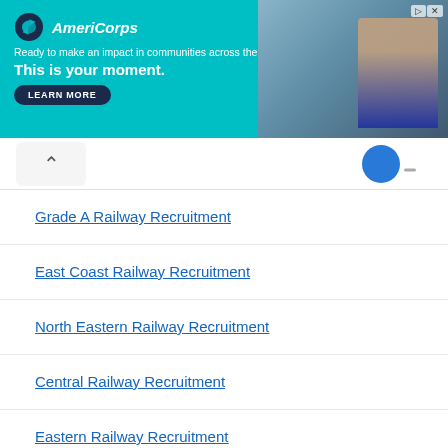[Figure (screenshot): AmeriCorps advertisement banner with teal background. Logo with circle icon and brand name. Text reads: 'Ready to make an impact in communities across the country? This is your moment.' with a LEARN MORE button. Photo of person on the right side.]
Grade A Railway Recruitment
East Coast Railway Recruitment
North Eastern Railway Recruitment
Central Railway Recruitment
Eastern Railway Recruitment
Konkan Railway Recruitment
North Central Railway Recruitment
South Central Railway Recruitment